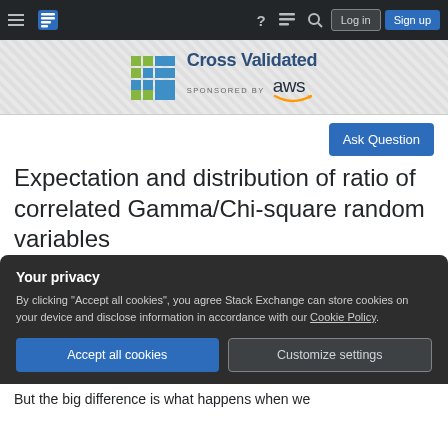Cross Validated — Stack Exchange Q&A site — navigation bar with Log in and Sign up buttons
[Figure (logo): Cross Validated logo with teal/green grid icon and 'Cross Validated' text, sponsored by AWS]
Ask Question
Expectation and distribution of ratio of correlated Gamma/Chi-square random variables
Your privacy

By clicking "Accept all cookies", you agree Stack Exchange can store cookies on your device and disclose information in accordance with our Cookie Policy.

Accept all cookies   Customize settings
But the big difference is what happens when we